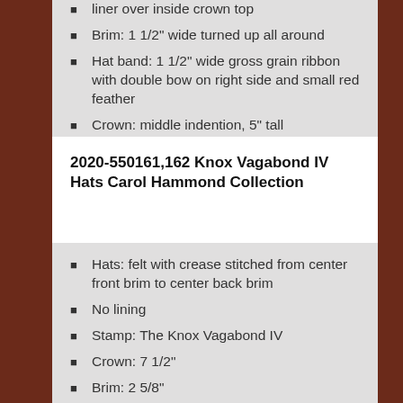liner over inside crown top
Brim: 1 1/2" wide turned up all around
Hat band: 1 1/2" wide gross grain ribbon with double bow on right side and small red feather
Crown: middle indention, 5" tall
2020-550161,162 Knox Vagabond IV Hats Carol Hammond Collection
Hats: felt with crease stitched from center front brim to center back brim
No lining
Stamp: The Knox Vagabond IV
Crown: 7 1/2"
Brim: 2 5/8"
Hat band: 5/8" gross grain ribbon with knot and short tails on side in the color of